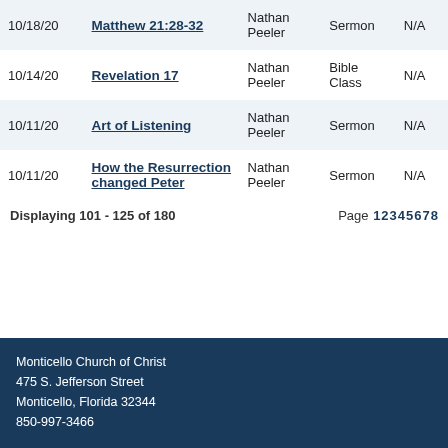| Date | Title | Speaker | Type |  |
| --- | --- | --- | --- | --- |
| 10/18/20 | Matthew 21:28-32 | Nathan Peeler | Sermon | N/A |
| 10/14/20 | Revelation 17 | Nathan Peeler | Bible Class | N/A |
| 10/11/20 | Art of Listening | Nathan Peeler | Sermon | N/A |
| 10/11/20 | How the Resurrection changed Peter | Nathan Peeler | Sermon | N/A |
Displaying 101 - 125 of 180    Page 1 2 3 4 5 6 7 8
Monticello Church of Christ
475 S. Jefferson Street
Monticello, Florida 32344
850-997-3466